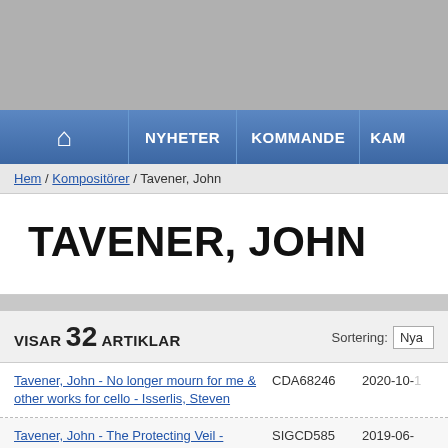[Figure (screenshot): Top gray banner area of a Swedish music website]
Home | NYHETER | KOMMANDE | KAM...
Hem / Kompositörer / Tavener, John
TAVENER, JOHN
VISAR 32 ARTIKLAR   Sortering: Nya
Tavener, John - No longer mourn for me & other works for cello - Isserlis, Steven  CDA68246  2020-10-...
Tavener, John - The Protecting Veil - Barley, Matthew  SIGCD585  2019-06-...
Tavener, John - Angels & other choral works - Winchester Cathedral Choir  CDA68255  2019-04-...
Tavener, John - Bara foljs...